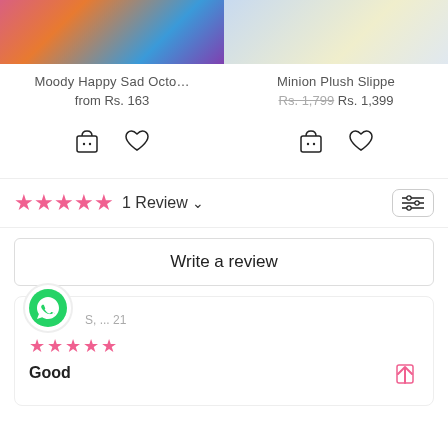[Figure (screenshot): Two product cards: left shows a colorful plush item, right shows yellow/pastel slippers]
Moody Happy Sad Octo…
from Rs. 163
Minion Plush Slippe
Rs. 1,799  Rs. 1,399
[Figure (illustration): Shopping bag icon and heart/wishlist icon for left product]
[Figure (illustration): Shopping bag icon and heart/wishlist icon for right product]
1 Review ∨
Write a review
S, ... 21
Good